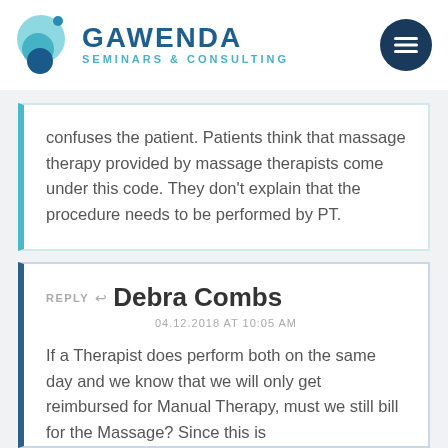[Figure (logo): Gawenda Seminars & Consulting logo with teal and blue circular bubbles graphic and text]
confuses the patient. Patients think that massage therapy provided by massage therapists come under this code. They don't explain that the procedure needs to be performed by PT.
REPLY Debra Combs
04.12.2018 AT 10:05 AM
If a Therapist does perform both on the same day and we know that we will only get reimbursed for Manual Therapy, must we still bill for the Massage? Since this is